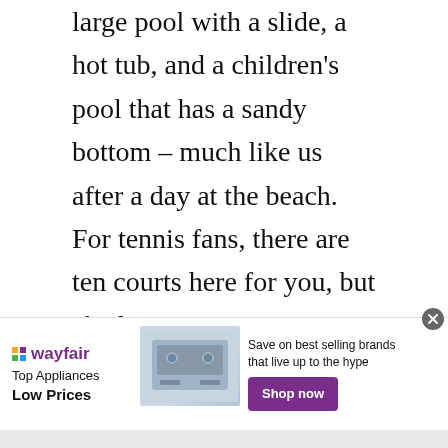large pool with a slide, a hot tub, and a children's pool that has a sandy bottom – much like us after a day at the beach. For tennis fans, there are ten courts here for you, but if relaxing is more your game, there are plenty of sunbeds around the pool terrace and of course, Poipu Beach is just footsteps away.
What else can you do here? You can sho...
[Figure (other): Wayfair advertisement banner with logo, Top Appliances Low Prices text, image of a stove appliance, and Save on best selling brands that live up to the hype with Shop now button]